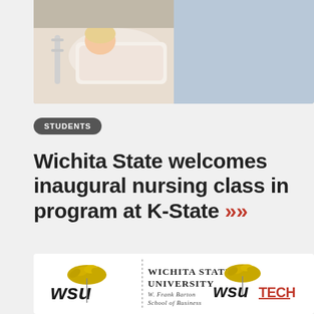[Figure (photo): Photo of a patient in a hospital bed with a nurse in blue scrubs attending to them]
STUDENTS
Wichita State welcomes inaugural nursing class in program at K-State »»
[Figure (logo): Wichita State University W. Frank Barton School of Business logo alongside WSU TECH logo]